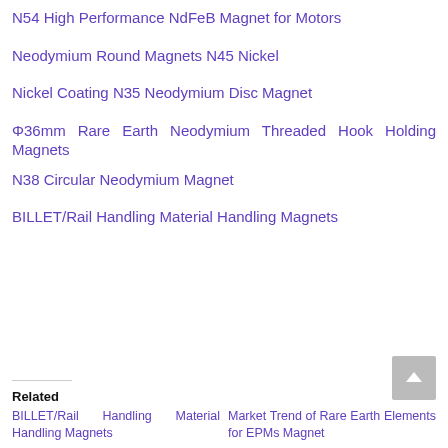N54 High Performance NdFeB Magnet for Motors
Neodymium Round Magnets N45 Nickel
Nickel Coating N35 Neodymium Disc Magnet
Φ36mm Rare Earth Neodymium Threaded Hook Holding Magnets
N38 Circular Neodymium Magnet
BILLET/Rail Handling Material Handling Magnets
Related
BILLET/Rail Handling Material Handling Magnets
Market Trend of Rare Earth Elements for EPMs Magnet